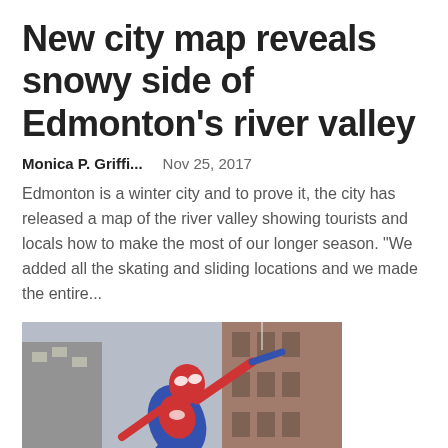New city map reveals snowy side of Edmonton’s river valley
Monica P. Griffi...    Nov 25, 2017
Edmonton is a winter city and to prove it, the city has released a map of the river valley showing tourists and locals how to make the most of our longer season. “We added all the skating and sliding locations and we made the entire...
[Figure (photo): Spider-Man swinging between buildings in a city scene]
Spider-Man’s New York Map Is “Several Times Bigger” Than